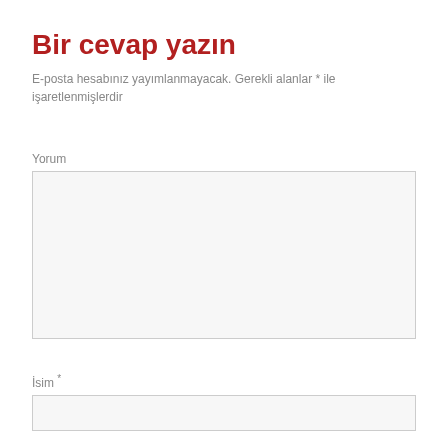Bir cevap yazın
E-posta hesabınız yayımlanmayacak. Gerekli alanlar * ile işaretlenmişlerdir
Yorum
[Figure (other): Empty textarea form field for comment input]
İsim *
[Figure (other): Empty single-line input field for name]